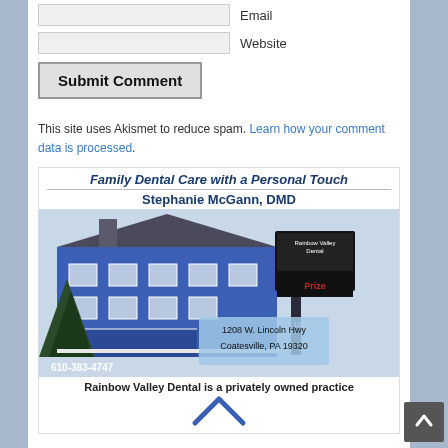[Figure (screenshot): Email input field with label]
[Figure (screenshot): Website input field with label]
[Figure (screenshot): Submit Comment button]
This site uses Akismet to reduce spam. Learn how your comment data is processed.
[Figure (illustration): Rainbow Valley Dental advertisement featuring: tagline 'Family Dental Care with a Personal Touch', dentist name 'Stephanie McGann, DMD', photo of blue building with dental sign showing 1208 W. Lincoln Hwy, Coatesville, PA 19320 and phone 610-383-4747, caption 'Rainbow Valley Dental is a privately owned practice']